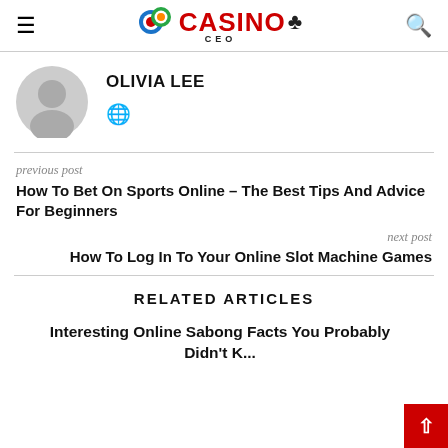Casino CEO
OLIVIA LEE
previous post
How To Bet On Sports Online – The Best Tips And Advice For Beginners
next post
How To Log In To Your Online Slot Machine Games
RELATED ARTICLES
Interesting Online Sabong Facts You Probably Didn't K...